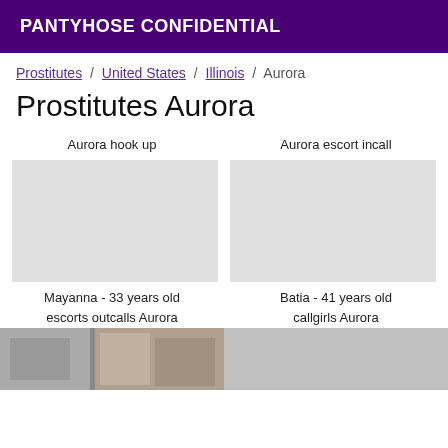PANTYHOSE CONFIDENTIAL
Prostitutes / United States / Illinois / Aurora
Prostitutes Aurora
Aurora hook up
Aurora escort incall
Mayanna - 33 years old
Batia - 41 years old
escorts outcalls Aurora
callgirls Aurora
[Figure (photo): Two partial photos of buildings/streets visible at bottom left]
[Figure (photo): Partial photo of building visible at bottom right area]